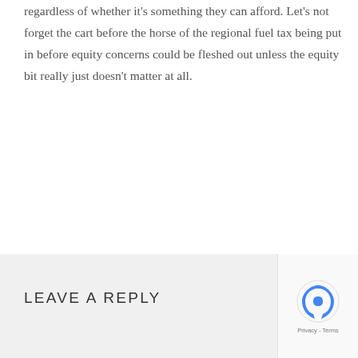regardless of whether it's something they can afford. Let's not forget the cart before the horse of the regional fuel tax being put in before equity concerns could be fleshed out unless the equity bit really just doesn't matter at all.
LEAVE A REPLY